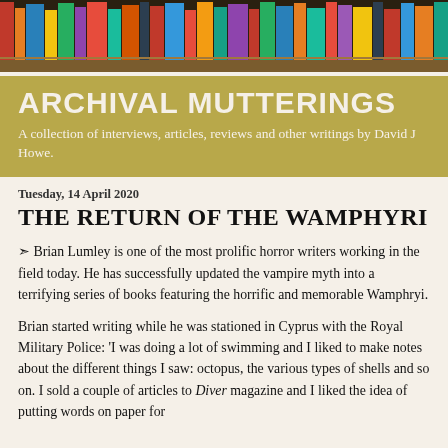[Figure (photo): A row of colorful book spines on a shelf, used as a decorative header banner image.]
ARCHIVAL MUTTERINGS
A collection of interviews, articles, reviews and other writings by David J Howe.
Tuesday, 14 April 2020
THE RETURN OF THE WAMPHYRI
❧ Brian Lumley is one of the most prolific horror writers working in the field today. He has successfully updated the vampire myth into a terrifying series of books featuring the horrific and memorable Wamphryi.
Brian started writing while he was stationed in Cyprus with the Royal Military Police: 'I was doing a lot of swimming and I liked to make notes about the different things I saw: octopus, the various types of shells and so on. I sold a couple of articles to Diver magazine and I liked the idea of putting words on paper for